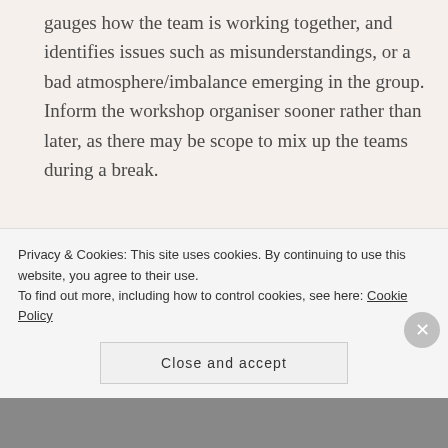gauges how the team is working together, and identifies issues such as misunderstandings, or a bad atmosphere/imbalance emerging in the group. Inform the workshop organiser sooner rather than later, as there may be scope to mix up the teams during a break.
3. People generally say what they really
Privacy & Cookies: This site uses cookies. By continuing to use this website, you agree to their use.
To find out more, including how to control cookies, see here: Cookie Policy
Close and accept